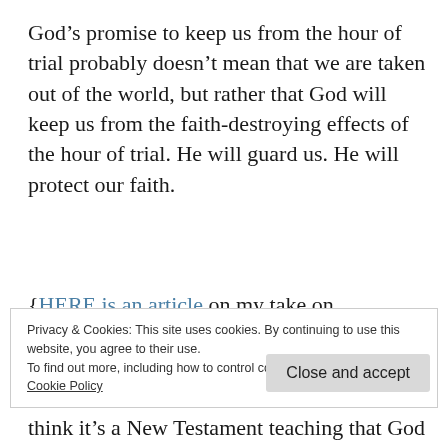God’s promise to keep us from the hour of trial probably doesn’t mean that we are taken out of the world, but rather that God will keep us from the faith-destroying effects of the hour of trial. He will guard us. He will protect our faith.
{HERE is an article on my take on Revelation 3:10. Paul Benson}
Privacy & Cookies: This site uses cookies. By continuing to use this website, you agree to their use.
To find out more, including how to control cookies, see here: Cookie Policy
Close and accept
think it’s a New Testament teaching that God